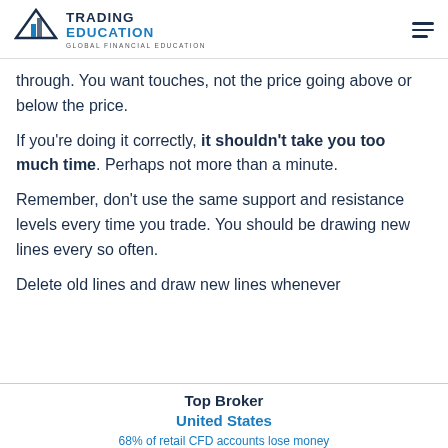TRADING EDUCATION — GLOBAL FINANCIAL EDUCATION
through. You want touches, not the price going above or below the price.
If you're doing it correctly, it shouldn't take you too much time. Perhaps not more than a minute.
Remember, don't use the same support and resistance levels every time you trade. You should be drawing new lines every so often.
Delete old lines and draw new lines whenever
Top Broker United States — 68% of retail CFD accounts lose money